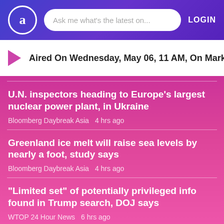a  Ask me what's the latest on...  LOGIN
Aired On Wednesday, May 06, 11 AM, On Marketplace
U.N. inspectors heading to Europe's largest nuclear power plant, in Ukraine
Bloomberg Daybreak Asia  4 hrs ago
Greenland ice melt will raise sea levels by nearly a foot, study says
Bloomberg Daybreak Asia  4 hrs ago
"Limited set" of potentially privileged info found in Trump search, DOJ says
WTOP 24 Hour News  6 hrs ago